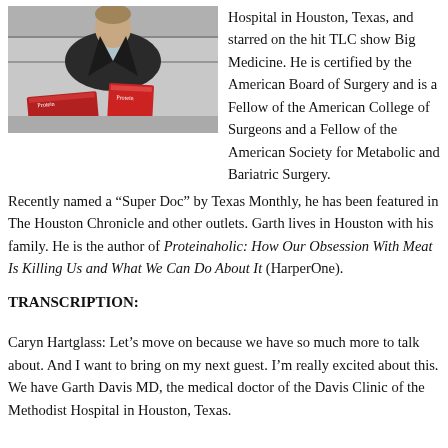[Figure (photo): Man in dark blazer standing behind a stack of red books titled 'Protein' (Proteinaholic), posing in what appears to be a bookstore or office setting.]
Hospital in Houston, Texas, and starred on the hit TLC show Big Medicine. He is certified by the American Board of Surgery and is a Fellow of the American College of Surgeons and a Fellow of the American Society for Metabolic and Bariatric Surgery. Recently named a “Super Doc” by Texas Monthly, he has been featured in The Houston Chronicle and other outlets. Garth lives in Houston with his family. He is the author of Proteinaholic: How Our Obsession With Meat Is Killing Us and What We Can Do About It (HarperOne).
TRANSCRIPTION:
Caryn Hartglass: Let’s move on because we have so much more to talk about. And I want to bring on my next guest. I’m really excited about this. We have Garth Davis MD, the medical doctor of the Davis Clinic of the Methodist Hospital in Houston, Texas.